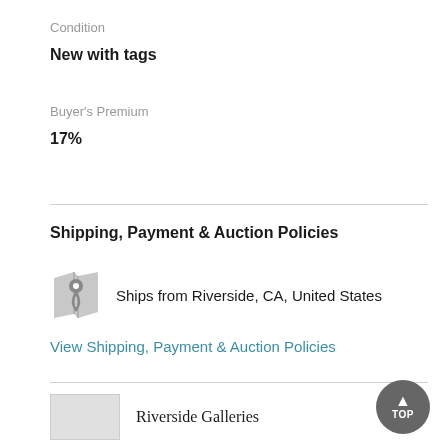Condition
New with tags
Buyer's Premium
17%
Shipping, Payment & Auction Policies
Ships from Riverside, CA, United States
View Shipping, Payment & Auction Policies
Riverside Galleries